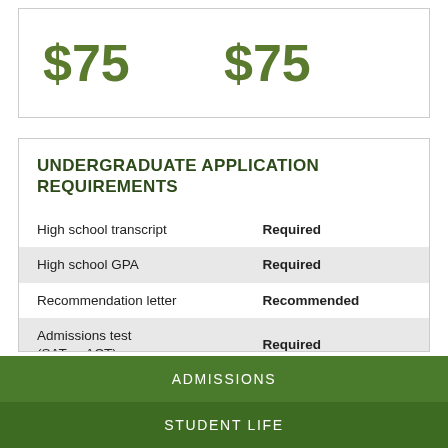$75   $75
UNDERGRADUATE APPLICATION REQUIREMENTS
|  |  |
| --- | --- |
| High school transcript | Required |
| High school GPA | Required |
| Recommendation letter | Recommended |
| Admissions test (SAT or ACT) | Required |
| TOEFL (international students) | Required |
ADMISSIONS
STUDENT LIFE